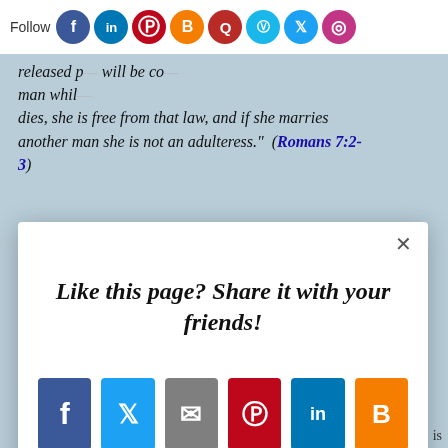Follow [social media icons: Facebook, LinkedIn, Pinterest, Blogger, Quora, Vimeo, Twitter, Instagram]
released from that law... will be co... man whil... dies, she is free from that law, and if she marries another man she is not an adulteress." (Romans 7:2-3)
[Figure (screenshot): Social sharing modal popup with title 'Like this page? Share it with your friends!' and share buttons for Facebook, Twitter, Email, Pinterest, LinkedIn, Blogger, and a + More button. AddThis branding at bottom right.]